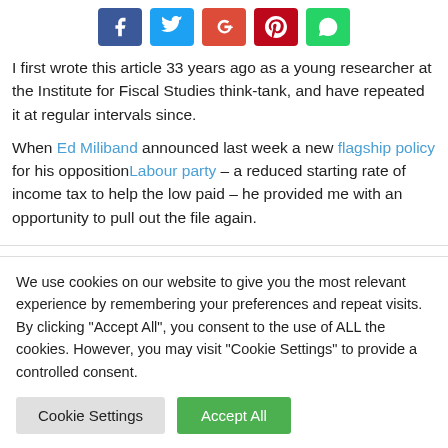[Figure (other): Social media share buttons: Facebook (blue), Twitter (light blue), Google+ (red), Pinterest (dark red), WhatsApp (green)]
I first wrote this article 33 years ago as a young researcher at the Institute for Fiscal Studies think-tank, and have repeated it at regular intervals since.
When Ed Miliband announced last week a new flagship policy for his opposition Labour party – a reduced starting rate of income tax to help the low paid – he provided me with an opportunity to pull out the file again.
We use cookies on our website to give you the most relevant experience by remembering your preferences and repeat visits. By clicking "Accept All", you consent to the use of ALL the cookies. However, you may visit "Cookie Settings" to provide a controlled consent.